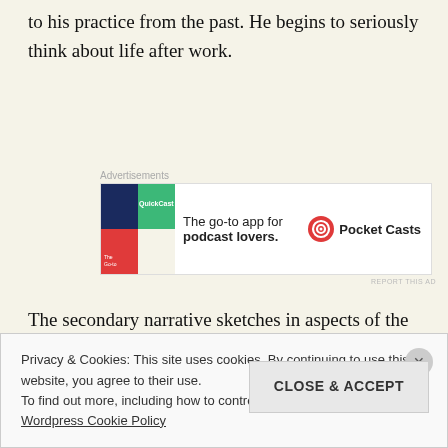to his practice from the past. He begins to seriously think about life after work.
[Figure (other): Advertisement for Pocket Casts: 'The go-to app for podcast lovers.' with Pocket Casts logo]
The secondary narrative sketches in aspects of the lives of Carla Baynes Prentice and her two kids, Skye and Jordan. I say “sketches” because I intentionally wanted to try and show how much, yet how little, social workers
Privacy & Cookies: This site uses cookies. By continuing to use this website, you agree to their use.
To find out more, including how to control cookies, see here:
Wordpress Cookie Policy